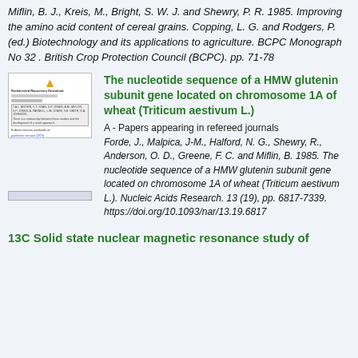Miflin, B. J., Kreis, M., Bright, S. W. J. and Shewry, P. R. 1985. Improving the amino acid content of cereal grains. Copping, L. G. and Rodgers, P. (ed.) Biotechnology and its applications to agriculture. BCPC Monograph No 32 . British Crop Protection Council (BCPC). pp. 71-78
[Figure (screenshot): Thumbnail image of a document page showing a structured record with title, abstract box, and hyperlink]
The nucleotide sequence of a HMW glutenin subunit gene located on chromosome 1A of wheat (Triticum aestivum L.)
A - Papers appearing in refereed journals
Forde, J., Malpica, J-M., Halford, N. G., Shewry, R., Anderson, O. D., Greene, F. C. and Miflin, B. 1985. The nucleotide sequence of a HMW glutenin subunit gene located on chromosome 1A of wheat (Triticum aestivum L.). Nucleic Acids Research. 13 (19), pp. 6817-7339. https://doi.org/10.1093/nar/13.19.6817
13C Solid state nuclear magnetic resonance study of